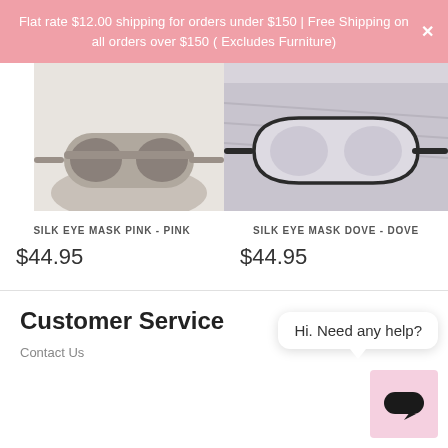Flat rate $12.00 shipping for orders under $150 | Free Shipping on all orders over $150 ( Excludes Furniture)
[Figure (photo): Silk Eye Mask Pink - product photo showing a pink/grey silk eye mask on a pale background, partially cropped at top]
[Figure (photo): Silk Eye Mask Dove - product photo showing a dove/grey silk eye mask with dark trim, packaging/fabric visible, partially cropped at top]
SILK EYE MASK PINK - PINK
SILK EYE MASK DOVE - DOVE
$44.95
$44.95
Hi. Need any help?
Customer Service
Contact Us